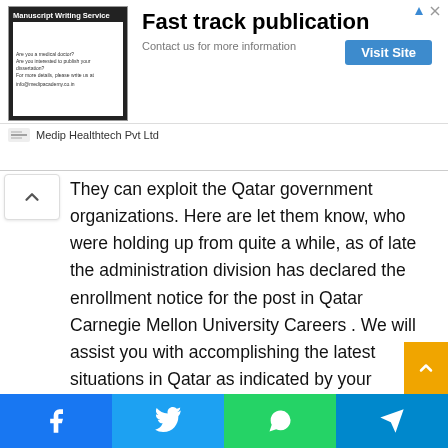[Figure (screenshot): Advertisement banner for Manuscript Writing Service by Medip Healthtech Pvt Ltd with 'Fast track publication' headline and 'Visit Site' button]
They can exploit the Qatar government organizations. Here are let them know, who were holding up from quite a while, as of late the administration division has declared the enrollment notice for the post in Qatar Carnegie Mellon University Careers . We will assist you with accomplishing the latest situations in Qatar as indicated by your educational profile and as per your age go.

So connect with us for organizations in Doha Qatar government. It is greatest news for the individuals who need accept this open door for join the Qatar Carnegie Mellon University Jobs Careers. We are give here an in the blink
[Figure (infographic): Social sharing bar with Facebook, Twitter, WhatsApp, and Telegram buttons at the bottom]